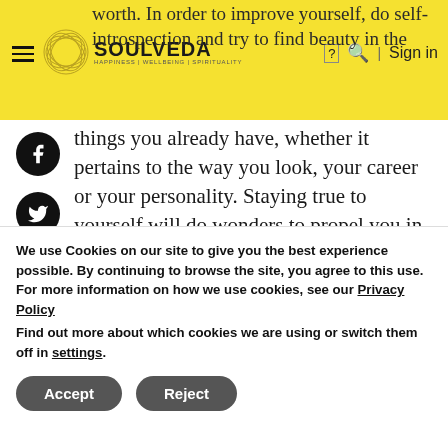Soulveda – Happiness | Wellbeing | Spirituality
worth. In order to improve yourself, do self-introspection and try to find beauty in the things you already have, whether it pertains to the way you look, your career or your personality. Staying true to yourself will do wonders to propel you in the right direction in life.
We use Cookies on our site to give you the best experience possible. By continuing to browse the site, you agree to this use. For more information on how we use cookies, see our Privacy Policy
Find out more about which cookies we are using or switch them off in settings.